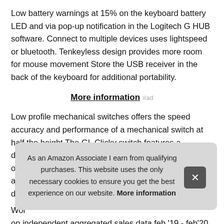Low battery warnings at 15% on the keyboard battery LED and via pop-up notification in the Logitech G HUB software. Connect to multiple devices uses lightspeed or bluetooth. Tenkeyless design provides more room for mouse movement Store the USB receiver in the back of the keyboard for additional portability.
More information #ad
Low profile mechanical switches offers the speed accuracy and performance of a mechanical switch at half the height The GL Clicky switch features a distinctive sound and tactile feedback Comes in 3 options GL Tactile GL Linear or GL Clicky alu des
Wor on independent aggregated sales data feb '19 - feb'20 of
As an Amazon Associate I earn from qualifying purchases. This website uses the only necessary cookies to ensure you get the best experience on our website. More information